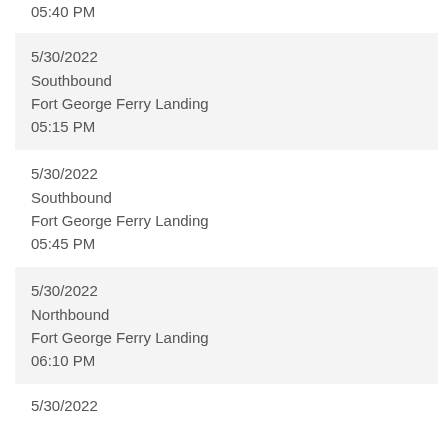05:40 PM
5/30/2022
Southbound
Fort George Ferry Landing
05:15 PM
5/30/2022
Southbound
Fort George Ferry Landing
05:45 PM
5/30/2022
Northbound
Fort George Ferry Landing
06:10 PM
5/30/2022